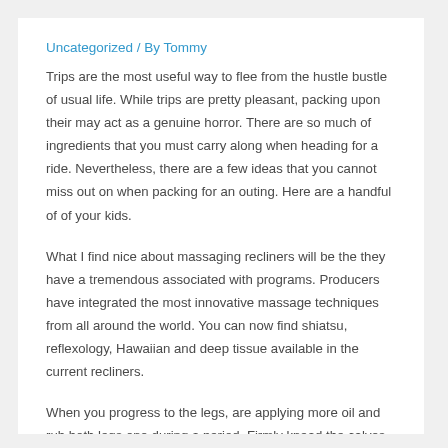Uncategorized / By Tommy
Trips are the most useful way to flee from the hustle bustle of usual life. While trips are pretty pleasant, packing upon their may act as a genuine horror. There are so much of ingredients that you must carry along when heading for a ride. Nevertheless, there are a few ideas that you cannot miss out on when packing for an outing. Here are a handful of of your kids.
What I find nice about massaging recliners will be the they have a tremendous associated with programs. Producers have integrated the most innovative massage techniques from all around the world. You can now find shiatsu, reflexology, Hawaiian and deep tissue available in the current recliners.
When you progress to the legs, are applying more oil and rub both legs one during a period. Firmly knead the calves in a circular range. Then you use your elbow or forearm to press against the